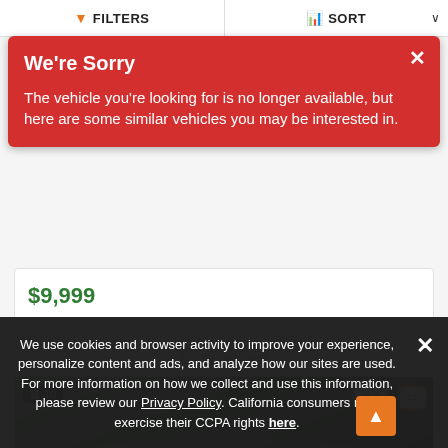FILTERS   SORT
We're Sorry
The vehicle you're looking for is no longer available, but here are some similar vehicles you may be interested in.
$9,999
Advertisement
[Figure (photo): Car listing photo thumbnail showing a vehicle with trees in background, photo count badge showing 10, heart/save badge showing 2, and compare button]
We use cookies and browser activity to improve your experience, personalize content and ads, and analyze how our sites are used. For more information on how we collect and use this information, please review our Privacy Policy. California consumers may exercise their CCPA rights here.